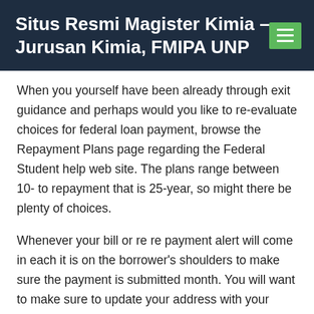Situs Resmi Magister Kimia – Jurusan Kimia, FMIPA UNP
When you yourself have been already through exit guidance and perhaps would you like to re-evaluate choices for federal loan payment, browse the Repayment Plans page regarding the Federal Student help web site. The plans range between 10- to repayment that is 25-year, so might there be plenty of choices.
Whenever your bill or re re payment alert will come in each it is on the borrower's shoulders to make sure the payment is submitted month. You will want to make sure to update your address with your servicer, or opt for electronic alerts or statements if that is available if you move after finishing school.